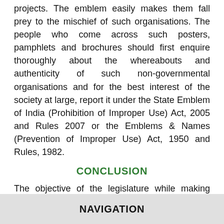projects. The emblem easily makes them fall prey to the mischief of such organisations. The people who come across such posters, pamphlets and brochures should first enquire thoroughly about the whereabouts and authenticity of such non-governmental organisations and for the best interest of the society at large, report it under the State Emblem of India (Prohibition of Improper Use) Act, 2005 and Rules 2007 or the Emblems & Names (Prevention of Improper Use) Act, 1950 and Rules, 1982.
CONCLUSION
The objective of the legislature while making laws for preventing the misuse of National Emblem and State Symbols was profusely clear as it wanted people not to
NAVIGATION